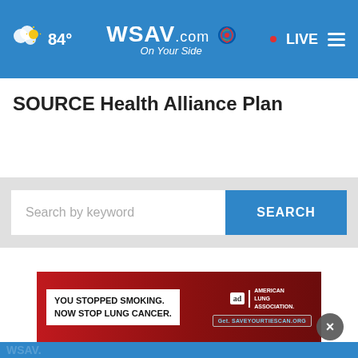[Figure (screenshot): WSAV.com website navigation bar with weather icon showing 84 degrees, WSAV.com On Your Side logo in center, and LIVE button with hamburger menu on right, on blue background]
SOURCE Health Alliance Plan
[Figure (screenshot): Search bar with 'Search by keyword' placeholder text and blue SEARCH button on light gray background]
[Figure (screenshot): Advertisement banner: red background with text 'YOU STOPPED SMOKING. NOW STOP LUNG CANCER.' and American Lung Association logo with URL Get.SAVEYOURTIESCAN.ORG]
[Figure (screenshot): Blue footer/overlay area with WSAV logo watermark and close (X) button, with 'Never stop being a dad.' advertisement partially visible]